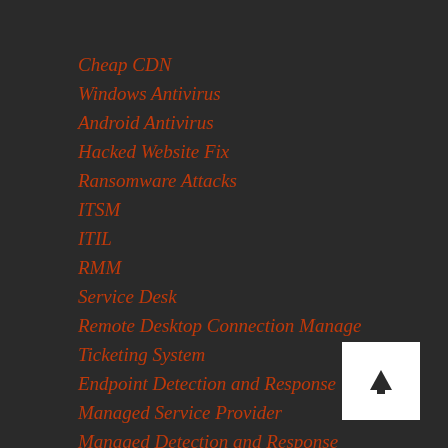Cheap CDN
Windows Antivirus
Android Antivirus
Hacked Website Fix
Ransomware Attacks
ITSM
ITIL
RMM
Service Desk
Remote Desktop Connection Manage
Ticketing System
Endpoint Detection and Response
Managed Service Provider
Managed Detection and Response
[Figure (logo): Small white square icon with a dark upward arrow/triangle symbol]